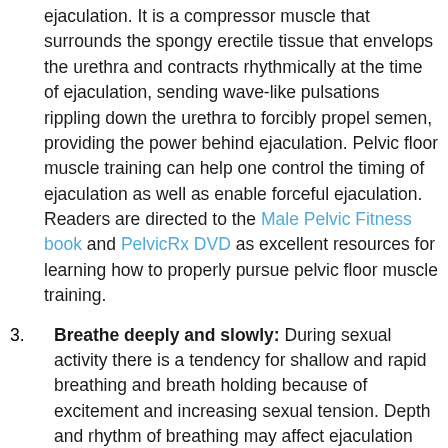ejaculation. It is a compressor muscle that surrounds the spongy erectile tissue that envelops the urethra and contracts rhythmically at the time of ejaculation, sending wave-like pulsations rippling down the urethra to forcibly propel semen, providing the power behind ejaculation. Pelvic floor muscle training can help one control the timing of ejaculation as well as enable forceful ejaculation. Readers are directed to the Male Pelvic Fitness book and PelvicRx DVD as excellent resources for learning how to properly pursue pelvic floor muscle training.
3. Breathe deeply and slowly: During sexual activity there is a tendency for shallow and rapid breathing and breath holding because of excitement and increasing sexual tension. Depth and rhythm of breathing may affect ejaculation with deep, full breaths optimal.
4. Stay sexually active: All body parts need to be used